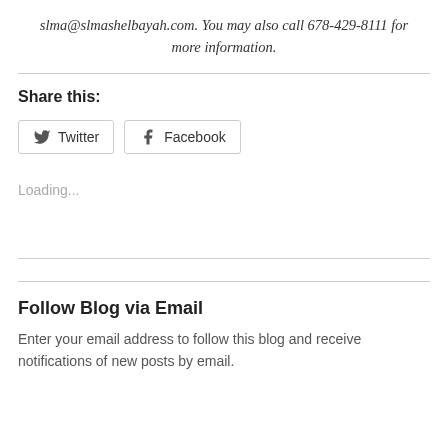slma@slmashelbayah.com. You may also call 678-429-8111 for more information.
Share this:
Twitter  Facebook
Loading...
Follow Blog via Email
Enter your email address to follow this blog and receive notifications of new posts by email.